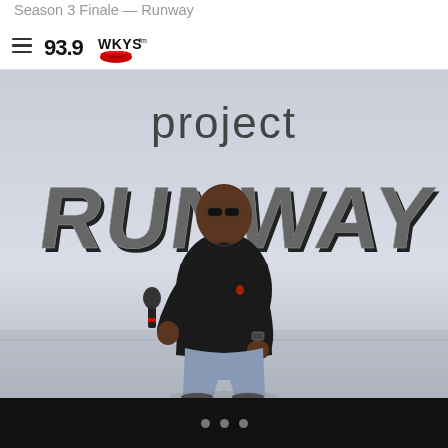Season 3 Finale — Runway
93.9 WKYS (logo)
[Figure (photo): A man wearing sunglasses and a black polo shirt holding a microphone, standing in front of a large 'project RUNWAY' logo backdrop on a stage.]
Carousel navigation dots (3 dots)